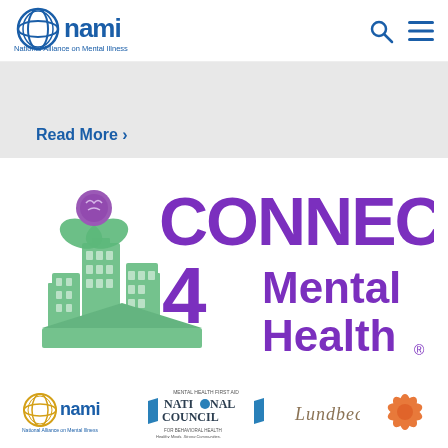[Figure (logo): NAMI (National Alliance on Mental Illness) logo in top left with blue globe icon and blue text]
[Figure (other): Search icon and hamburger menu icon in top right navigation]
Read More ›
[Figure (logo): Connect 4 Mental Health logo - large purple text reading CONNECT 4 Mental Health with registered trademark, with green illustrated city skyline and purple brain/hands graphic replacing the letter O]
[Figure (logo): Sponsor logos row: NAMI (National Alliance on Mental Illness), National Council for Behavioral Health (Mental Health First Aid), Lundbeck, and a starfish/coral icon]